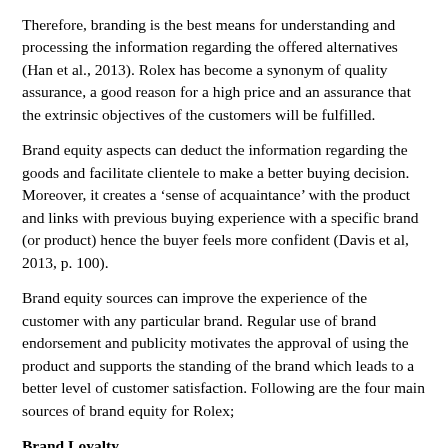Therefore, branding is the best means for understanding and processing the information regarding the offered alternatives (Han et al., 2013). Rolex has become a synonym of quality assurance, a good reason for a high price and an assurance that the extrinsic objectives of the customers will be fulfilled.
Brand equity aspects can deduct the information regarding the goods and facilitate clientele to make a better buying decision. Moreover, it creates a 'sense of acquaintance' with the product and links with previous buying experience with a specific brand (or product) hence the buyer feels more confident (Davis et al, 2013, p. 100).
Brand equity sources can improve the experience of the customer with any particular brand. Regular use of brand endorsement and publicity motivates the approval of using the product and supports the standing of the brand which leads to a better level of customer satisfaction. Following are the four main sources of brand equity for Rolex;
Brand Loyalty
Brand loyalty is a valuable source of assessing the mindsets of customers. Rolex's clientele fulfils the requirements of both levels of loyalty - i.e., behavioural loyalty as well as cognitive loyalty. It happens because customers are likely to prefer this